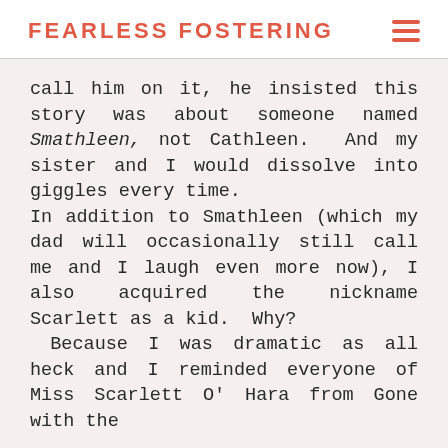FEARLESS FOSTERING
call him on it, he insisted this story was about someone named Smathleen, not Cathleen. And my sister and I would dissolve into giggles every time.
In addition to Smathleen (which my dad will occasionally still call me and I laugh even more now), I also acquired the nickname Scarlett as a kid. Why? Because I was dramatic as all heck and I reminded everyone of Miss Scarlett O' Hara from Gone with the